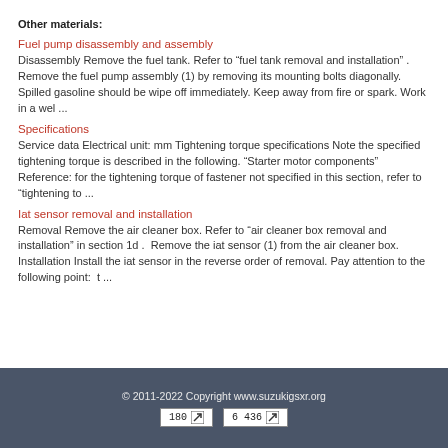Other materials:
Fuel pump disassembly and assembly
Disassembly Remove the fuel tank. Refer to “fuel tank removal and installation” .  Remove the fuel pump assembly (1) by removing its mounting bolts diagonally. Spilled gasoline should be wipe off immediately. Keep away from fire or spark. Work in a wel ...
Specifications
Service data Electrical unit: mm Tightening torque specifications Note the specified tightening torque is described in the following. “Starter motor components” Reference: for the tightening torque of fastener not specified in this section, refer to “tightening to ...
Iat sensor removal and installation
Removal Remove the air cleaner box. Refer to “air cleaner box removal and installation” in section 1d .  Remove the iat sensor (1) from the air cleaner box. Installation Install the iat sensor in the reverse order of removal. Pay attention to the following point:  t ...
© 2011-2022 Copyright www.suzukigsxr.org